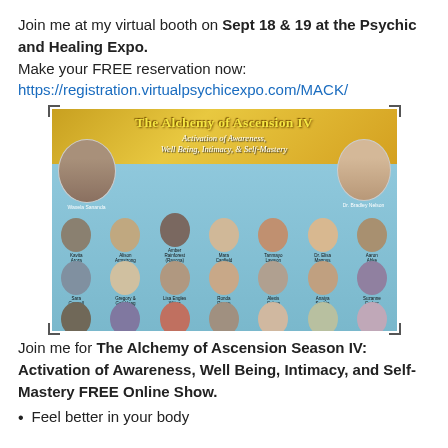Join me at my virtual booth on Sept 18 & 19 at the Psychic and Healing Expo. Make your FREE reservation now: https://registration.virtualpsychicexpo.com/MACK/
[Figure (photo): Promotional banner for 'The Alchemy of Ascension IV: Activation of Awareness, Well Being, Intimacy, & Self-Mastery' event featuring headshots of multiple speakers including Waxela Sananda, Dr. Bradley Nelson, Kavita Arora, Alison Armstrong, Amber Rainforest (Rayona), Mara Canfield, Tanmayo Lawson, Dr. Elisa Magnus, Aaron Abke, Sara Connell, Gregory & Gail Hoag, Lisa Engles Witter, Ronda Renee, Alexis Cohen, Anaiya Sophia, Suzanne Gerber, Jimmy Mack, Beth Osmer, Dr. Claretha Yeager, Thomas Paladino, Janet Miller, Aurika Valan, Sydney Campos]
Join me for The Alchemy of Ascension Season IV: Activation of Awareness, Well Being, Intimacy, and Self-Mastery FREE Online Show.
Feel better in your body